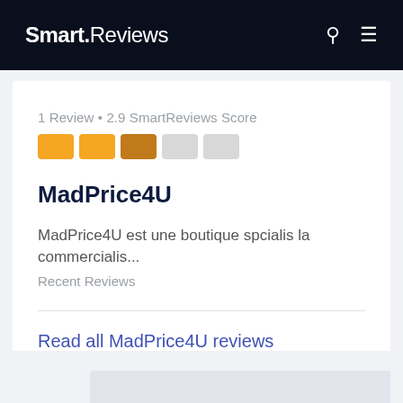Smart.Reviews
1 Review • 2.9 SmartReviews Score
MadPrice4U
MadPrice4U est une boutique spcialis la commercialis…
Recent Reviews
Read all MadPrice4U reviews